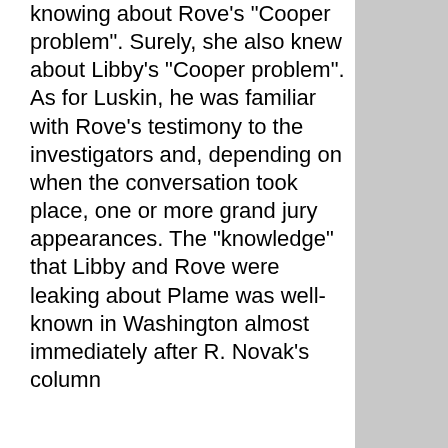knowing about Rove's "Cooper problem". Surely, she also knew about Libby's "Cooper problem". As for Luskin, he was familiar with Rove's testimony to the investigators and, depending on when the conversation took place, one or more grand jury appearances. The "knowledge" that Libby and Rove were leaking about Plame was well-known in Washington almost immediately after R. Novak's column